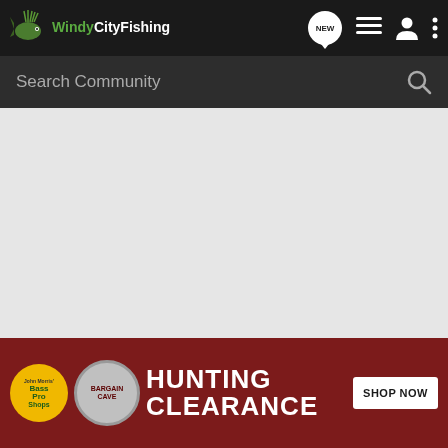[Figure (screenshot): Windy City Fishing community website screenshot showing navigation bar with logo, search bar, empty content area, and a Bass Pro Shops Hunting Clearance advertisement banner at the bottom]
Windy City Fishing
Search Community
[Figure (infographic): Bass Pro Shops Bargain Cave Hunting Clearance advertisement banner with SHOP NOW button]